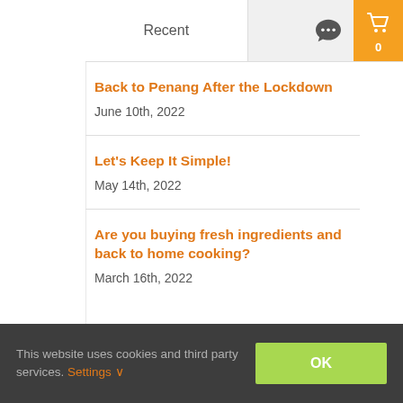Recent
Back to Penang After the Lockdown
June 10th, 2022
Let's Keep It Simple!
May 14th, 2022
Are you buying fresh ingredients and back to home cooking?
March 16th, 2022
This website uses cookies and third party services. Settings ∨
OK